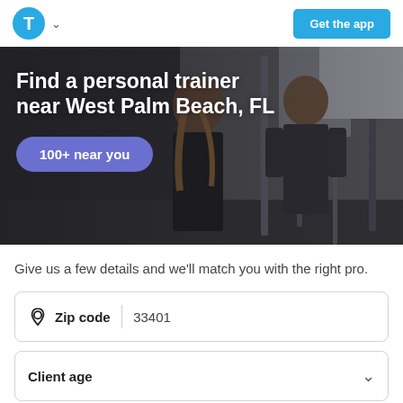[Figure (screenshot): App header with blue circle T logo and 'Get the app' button]
[Figure (photo): Dark gym photo background showing two people exercising, with overlay text 'Find a personal trainer near West Palm Beach, FL' and a purple badge reading '100+ near you']
Give us a few details and we'll match you with the right pro.
| Zip code | 33401 |
| Client age |  |